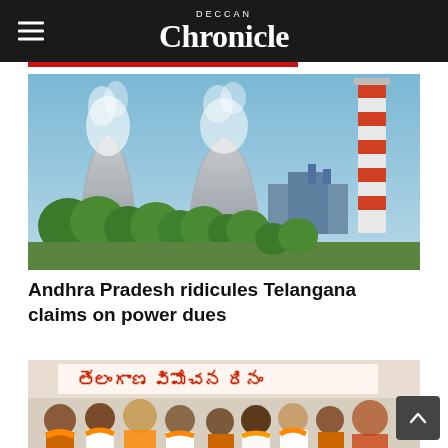DECCAN Chronicle
[Figure (photo): Power plant with two large cooling towers emitting steam and a tall red-and-white striped chimney stack against a blue sky, with trees in the foreground]
Andhra Pradesh ridicules Telangana claims on power dues
[Figure (photo): Group of politicians wearing orange and white scarves at a Telangana Vimochana Dinam event with Telugu text banner in background]